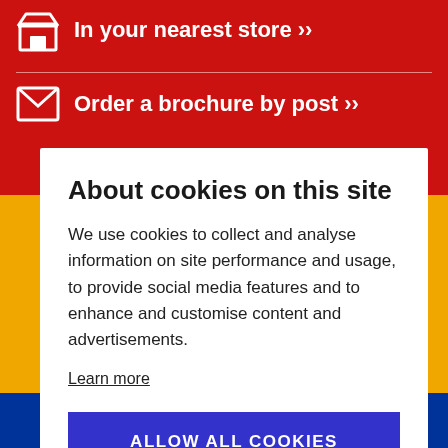In your nearest store »
Order a brochure by post »
About cookies on this site
We use cookies to collect and analyse information on site performance and usage, to provide social media features and to enhance and customise content and advertisements.
Learn more
ALLOW ALL COOKIES
COOKIE SETTINGS